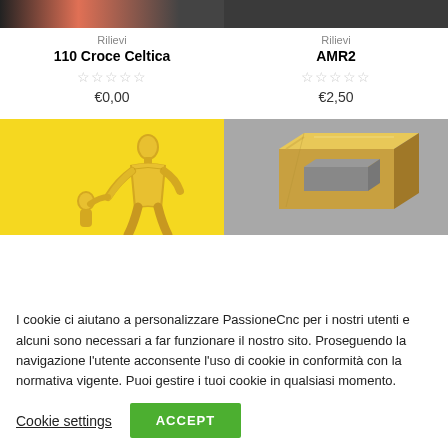[Figure (screenshot): Top portion of product card image for 110 Croce Celtica, dark background with reddish accent]
Rilievi
110 Croce Celtica
★★★★★ (empty stars rating)
€0,00
[Figure (screenshot): Top portion of product card image for AMR2, dark background]
Rilievi
AMR2
★★★★★ (empty stars rating)
€2,50
[Figure (photo): Yellow background with golden 3D sculpture of a woman and child figure]
[Figure (photo): Gray background with golden/brass colored 3D ring/block object]
I cookie ci aiutano a personalizzare PassioneCnc per i nostri utenti e alcuni sono necessari a far funzionare il nostro sito. Proseguendo la navigazione l'utente acconsente l'uso di cookie in conformità con la normativa vigente. Puoi gestire i tuoi cookie in qualsiasi momento.
Cookie settings
ACCEPT